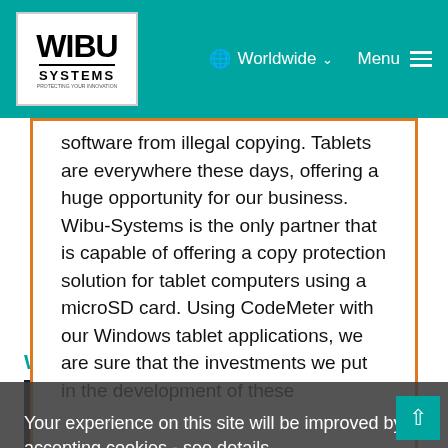WIBU SYSTEMS | Worldwide | Menu
software from illegal copying. Tablets are everywhere these days, offering a huge opportunity for our business. Wibu-Systems is the only partner that is capable of offering a copy protection solution for tablet computers using a microSD card. Using CodeMeter with our Windows tablet applications, we are sure that the investments we put in the development of these
Your experience on this site will be improved by accepting cookies - see details.
accept only necessary
accept all
Wibu-Systems and PvO
PvO (Partners voor Ondernemers) has developed a portfolio of